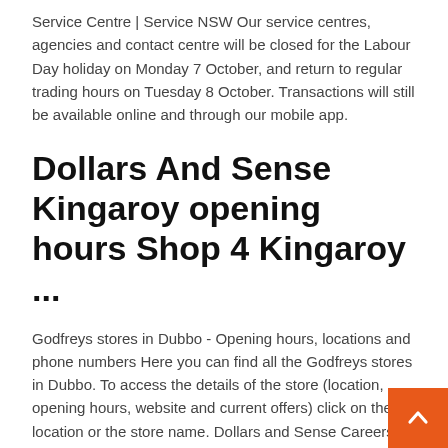Service Centre | Service NSW Our service centres, agencies and contact centre will be closed for the Labour Day holiday on Monday 7 October, and return to regular trading hours on Tuesday 8 October. Transactions will still be available online and through our mobile app.
Dollars And Sense Kingaroy opening hours Shop 4 Kingaroy ...
Godfreys stores in Dubbo - Opening hours, locations and phone numbers Here you can find all the Godfreys stores in Dubbo. To access the details of the store (location, opening hours, website and current offers) click on the location or the store name. Dollars and Sense Careers and Employment | Indeed.com had an alright time working at dollars & sense downside was having to put up with upset customers but a part of the retail industry, a typical day at work was opening